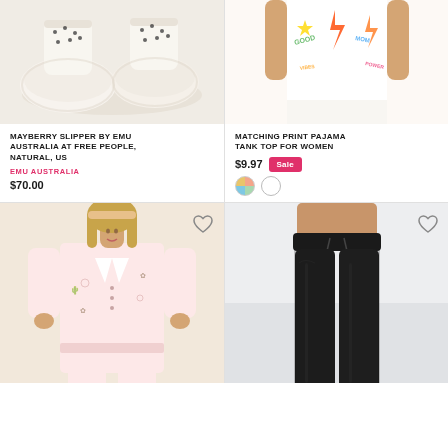[Figure (photo): Mayberry slipper shoes in cream/natural color on a soft white background]
MAYBERRY SLIPPER BY EMU AUSTRALIA AT FREE PEOPLE, NATURAL, US
EMU AUSTRALIA
$70.00
[Figure (photo): Matching print pajama tank top with colorful print worn by a woman]
MATCHING PRINT PAJAMA TANK TOP FOR WOMEN
$9.97 Sale
[Figure (photo): Woman wearing western/cowboy print pink pajama set]
[Figure (photo): Black drawstring jogger pants on a model]